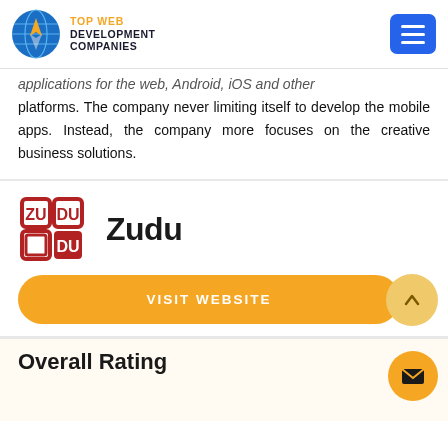TOP WEB DEVELOPMENT COMPANIES
applications for the web, Android, iOS and other platforms. The company never limiting itself to develop the mobile apps. Instead, the company more focuses on the creative business solutions.
[Figure (logo): Zudu company logo - red square grid icon with ZU DU letters]
Zudu
VISIT WEBSITE
Overall Rating